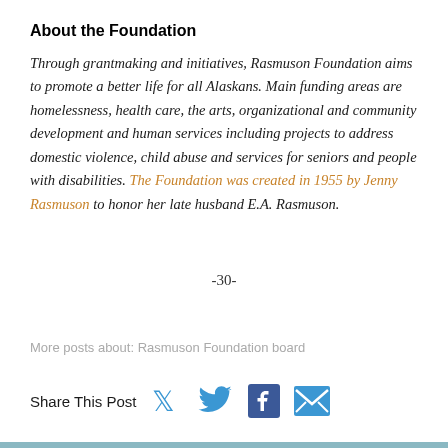About the Foundation
Through grantmaking and initiatives, Rasmuson Foundation aims to promote a better life for all Alaskans. Main funding areas are homelessness, health care, the arts, organizational and community development and human services including projects to address domestic violence, child abuse and services for seniors and people with disabilities. The Foundation was created in 1955 by Jenny Rasmuson to honor her late husband E.A. Rasmuson.
-30-
More posts about: Rasmuson Foundation board
Share This Post